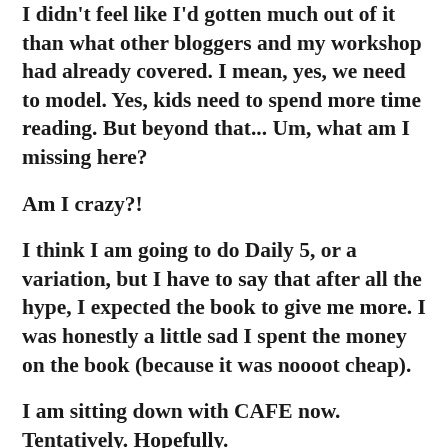I didn't feel like I'd gotten much out of it than what other bloggers and my workshop had already covered. I mean, yes, we need to model. Yes, kids need to spend more time reading. But beyond that... Um, what am I missing here?
Am I crazy?!
I think I am going to do Daily 5, or a variation, but I have to say that after all the hype, I expected the book to give me more. I was honestly a little sad I spent the money on the book (because it was noooot cheap).
I am sitting down with CAFE now. Tentatively. Hopefully.
After the number of people that have recommended The Sisters to me so highly, just writing this feels a bit like blasphemy. And I'm sorry if you are a faithful fan.